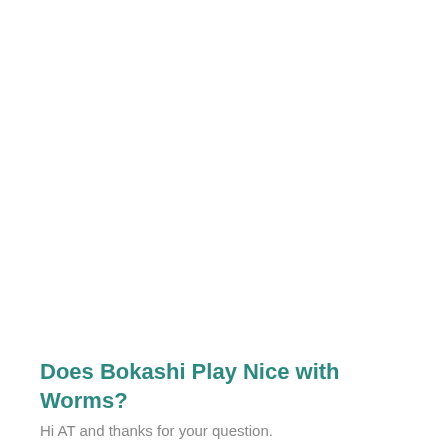Does Bokashi Play Nice with Worms?
Hi AT and thanks for your question.